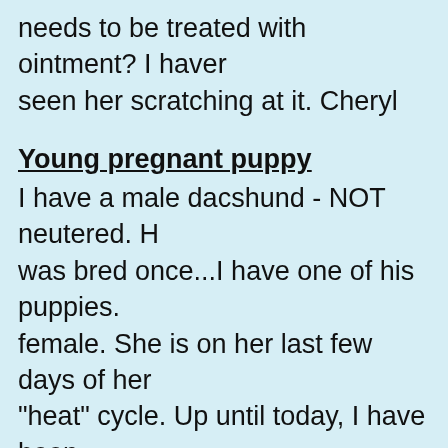needs to be treated with ointment? I haven seen her scratching at it. Cheryl
Young pregnant puppy
I have a male dacshund - NOT neutered. He was bred once...I have one of his puppies. female. She is on her last few days of her "heat" cycle. Up until today, I have been successful in isolating her from him....but he "got to her" today. She is almost 8 mon old. What in the world do I need to do? I'm worried for her health and the health of the puppies, if she conceived.
Does e.coli affect dog fertility?
Several of my young female dogs have no gotten pregnant lately, so I took them to th